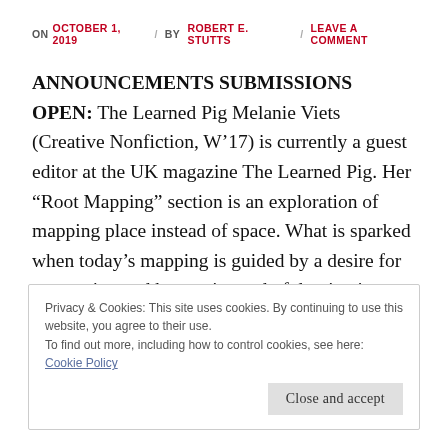ON OCTOBER 1, 2019 / BY ROBERT E. STUTTS / LEAVE A COMMENT
ANNOUNCEMENTS SUBMISSIONS OPEN: The Learned Pig Melanie Viets (Creative Nonfiction, W’17) is currently a guest editor at the UK magazine The Learned Pig. Her “Root Mapping” section is an exploration of mapping place instead of space. What is sparked when today’s mapping is guided by a desire for connection and beauty instead of domination, when maps are …
Privacy & Cookies: This site uses cookies. By continuing to use this website, you agree to their use.
To find out more, including how to control cookies, see here: Cookie Policy
Close and accept